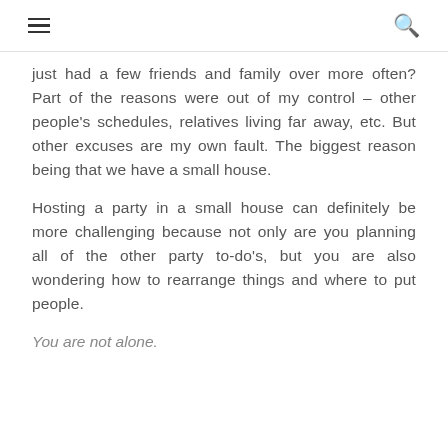☰  🔍
just had a few friends and family over more often? Part of the reasons were out of my control – other people's schedules, relatives living far away, etc. But other excuses are my own fault. The biggest reason being that we have a small house.
Hosting a party in a small house can definitely be more challenging because not only are you planning all of the other party to-do's, but you are also wondering how to rearrange things and where to put people.
You are not alone.